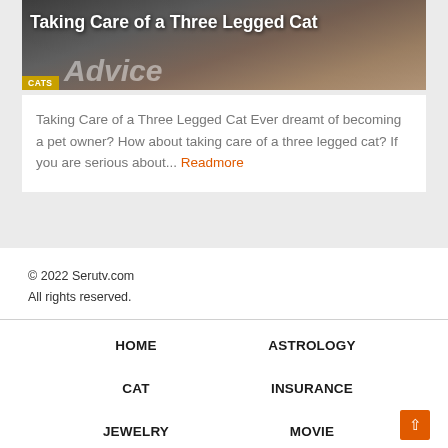[Figure (photo): Article thumbnail image showing a cat-related topic with 'Taking Care of a Three Legged Cat' title overlay and 'CATS' label badge, with 'Advice' text watermark]
Taking Care of a Three Legged Cat
Taking Care of a Three Legged Cat Ever dreamt of becoming a pet owner? How about taking care of a three legged cat? If you are serious about... Readmore
© 2022 Serutv.com
All rights reserved.
HOME
ASTROLOGY
CAT
INSURANCE
JEWELRY
MOVIE
NETWORK
JAMBISERU.COM